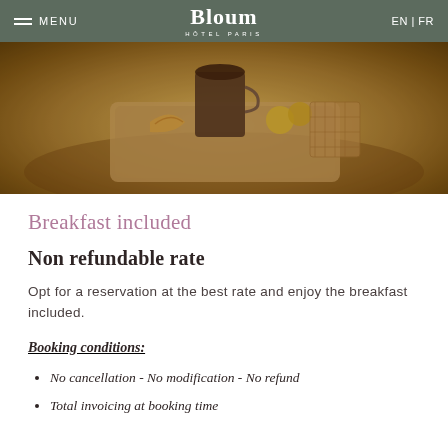MENU | Bloum HÔTEL PARIS | EN | FR
[Figure (photo): Hero image of a hotel breakfast tray with coffee, pastries, and fruit on a warm-toned background]
Breakfast included
Non refundable rate
Opt for a reservation at the best rate and enjoy the breakfast included.
Booking conditions:
No cancellation - No modification - No refund
Total invoicing at booking time